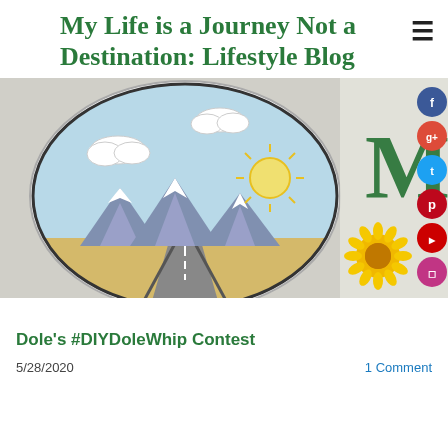My Life is a Journey Not a Destination: Lifestyle Blog
[Figure (photo): Hero image showing a hand-drawn circular illustration of a road perspective with mountains, sun, sky and clouds, beside a decorative blog logo with letter M, a sunflower, and butterfly. Social media icons (Facebook, Google+, Twitter, Pinterest, YouTube, Instagram) are overlaid on the right side.]
Dole's #DIYDoleWhip Contest
5/28/2020
1 Comment